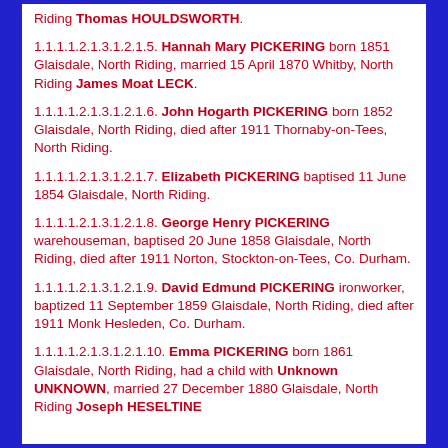Riding Thomas HOULDSWORTH.
1.1.1.1.2.1.3.1.2.1.5. Hannah Mary PICKERING born 1851 Glaisdale, North Riding, married 15 April 1870 Whitby, North Riding James Moat LECK.
1.1.1.1.2.1.3.1.2.1.6. John Hogarth PICKERING born 1852 Glaisdale, North Riding, died after 1911 Thornaby-on-Tees, North Riding.
1.1.1.1.2.1.3.1.2.1.7. Elizabeth PICKERING baptised 11 June 1854 Glaisdale, North Riding.
1.1.1.1.2.1.3.1.2.1.8. George Henry PICKERING warehouseman, baptised 20 June 1858 Glaisdale, North Riding, died after 1911 Norton, Stockton-on-Tees, Co. Durham.
1.1.1.1.2.1.3.1.2.1.9. David Edmund PICKERING ironworker, baptized 11 September 1859 Glaisdale, North Riding, died after 1911 Monk Hesleden, Co. Durham.
1.1.1.1.2.1.3.1.2.1.10. Emma PICKERING born 1861 Glaisdale, North Riding, had a child with Unknown UNKNOWN, married 27 December 1880 Glaisdale, North Riding Joseph HESELTINE